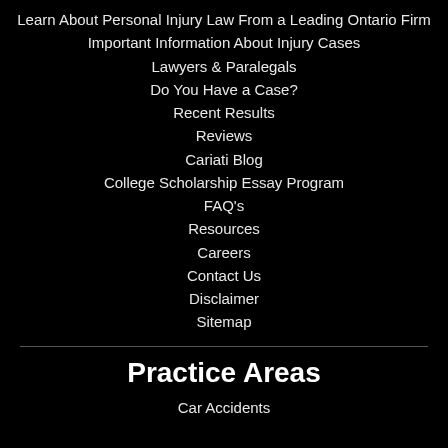Learn About Personal Injury Law From a Leading Ontario Firm
Important Information About Injury Cases
Lawyers & Paralegals
Do You Have a Case?
Recent Results
Reviews
Cariati Blog
College Scholarship Essay Program
FAQ's
Resources
Careers
Contact Us
Disclaimer
Sitemap
Practice Areas
Car Accidents